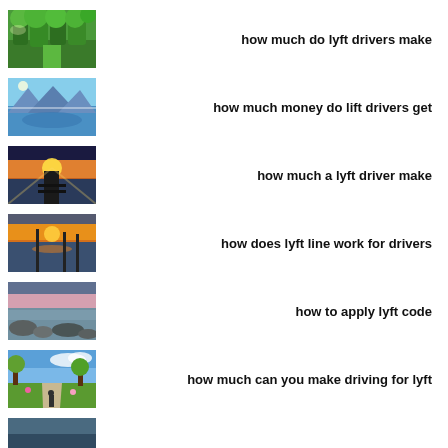[Figure (photo): Green forest landscape thumbnail]
how much do lyft drivers make
[Figure (photo): Blue mountain lake reflection thumbnail]
how much money do lift drivers get
[Figure (photo): Sunset over pier/dock thumbnail]
how much a lyft driver make
[Figure (photo): Sunset lake with poles thumbnail]
how does lyft line work for drivers
[Figure (photo): Rocky shore at dusk thumbnail]
how to apply lyft code
[Figure (photo): Garden path with blue sky thumbnail]
how much can you make driving for lyft
[Figure (photo): Partial thumbnail at bottom]